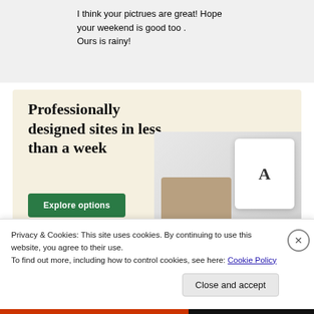I think your pictrues are great! Hope your weekend is good too . Ours is rainy!
[Figure (screenshot): Advertisement banner with cream background. Headline reads 'Professionally designed sites in less than a week' with a green 'Explore options' button and website screenshots on the right.]
Privacy & Cookies: This site uses cookies. By continuing to use this website, you agree to their use. To find out more, including how to control cookies, see here: Cookie Policy
Close and accept